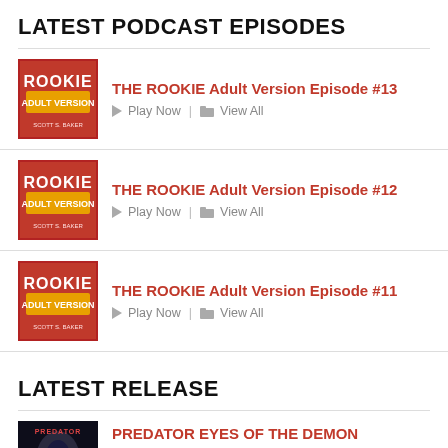LATEST PODCAST EPISODES
THE ROOKIE Adult Version Episode #13 — Play Now | View All
THE ROOKIE Adult Version Episode #12 — Play Now | View All
THE ROOKIE Adult Version Episode #11 — Play Now | View All
LATEST RELEASE
PREDATOR EYES OF THE DEMON — Features Scott's story "Dead Man's Switch" — Get It Now